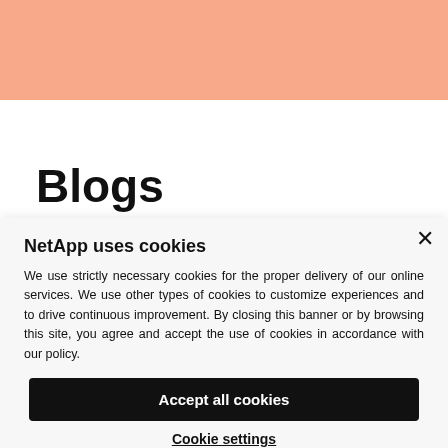[Figure (other): Salmon/peach colored header banner at the top of the page]
Blogs
NetApp uses cookies
We use strictly necessary cookies for the proper delivery of our online services. We use other types of cookies to customize experiences and to drive continuous improvement. By closing this banner or by browsing this site, you agree and accept the use of cookies in accordance with our policy.
Accept all cookies
Cookie settings